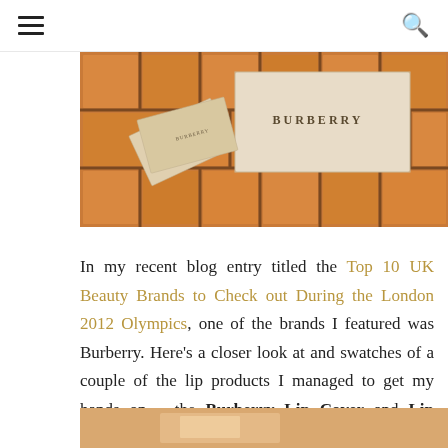[hamburger menu] [search icon]
[Figure (photo): Photo of Burberry product boxes on a terracotta tile surface. The word BURBERRY is visible on a beige box.]
In my recent blog entry titled the Top 10 UK Beauty Brands to Check out During the London 2012 Olympics, one of the brands I featured was Burberry. Here's a closer look at and swatches of a couple of the lip products I managed to get my hands on – the Burberry Lip Cover and Lip Glow.
[Figure (photo): Partial photo of Burberry product on a warm-toned background, cropped at page bottom.]